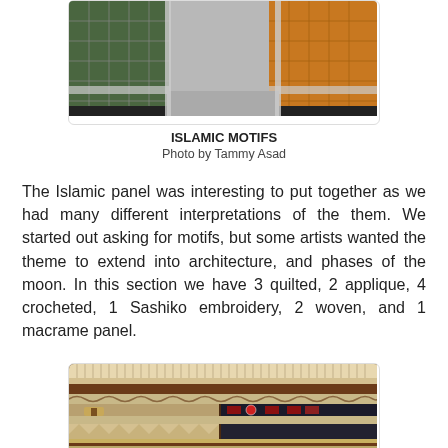[Figure (photo): Photo of Islamic motifs textile/quilt display panels arranged in a corner, showing colorful geometric patterns and ornate designs]
ISLAMIC MOTIFS
Photo by Tammy Asad
The Islamic panel was interesting to put together as we had many different interpretations of the them. We started out asking for motifs, but some artists wanted the theme to extend into architecture, and phases of the moon. In this section we have 3 quilted, 2 applique, 4 crocheted, 1 Sashiko embroidery, 2 woven, and 1 macrame panel.
[Figure (photo): Photo of woven and macrame textile panels with geometric Islamic patterns, arranged in a display with brown and cream tones]